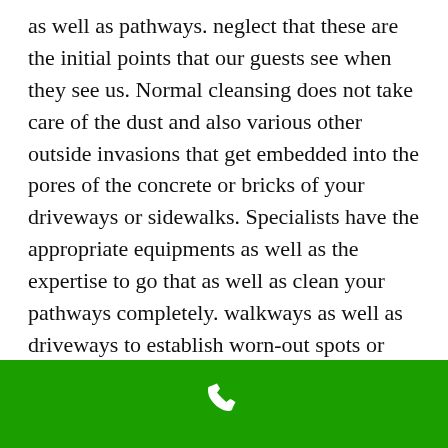as well as pathways. neglect that these are the initial points that our guests see when they see us. Normal cleansing does not take care of the dust and also various other outside invasions that get embedded into the pores of the concrete or bricks of your driveways or sidewalks. Specialists have the appropriate equipments as well as the expertise to go that as well as clean your pathways completely. walkways as well as driveways to establish worn-out spots or areas to obtain them cleansed.
[Figure (illustration): Green footer bar with a white phone handset icon centered in it]